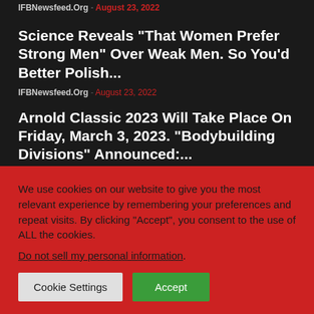IFBNewsfeed.Org - August 23, 2022
Science Reveals “That Women Prefer Strong Men” Over Weak Men. So You’d Better Polish…
IFBNewsfeed.Org - August 23, 2022
Arnold Classic 2023 Will Take Place On Friday, March 3, 2023. “Bodybuilding Divisions” Announced:…
IFBNewsfeed.Org - August 22, 2022
We use cookies on our website to give you the most relevant experience by remembering your preferences and repeat visits. By clicking “Accept”, you consent to the use of ALL the cookies.
Do not sell my personal information.